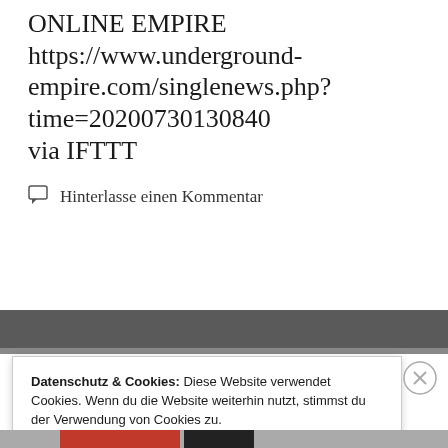ONLINE EMPIRE https://www.underground-empire.com/singlenews.php?time=20200730130840 via IFTTT
Hinterlasse einen Kommentar
Datenschutz & Cookies: Diese Website verwendet Cookies. Wenn du die Website weiterhin nutzt, stimmst du der Verwendung von Cookies zu.
Weitere Informationen, beispielsweise zur Kontrolle von Cookies, findest du hier: Cookie-Richtlinie
Schließen und Akzeptieren